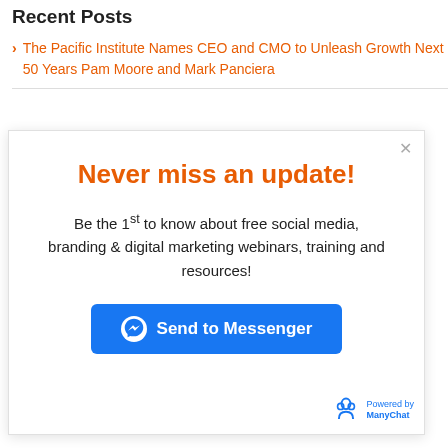Recent Posts
The Pacific Institute Names CEO and CMO to Unleash Growth Next 50 Years Pam Moore and Mark Panciera
Never miss an update!
Be the 1st to know about free social media, branding & digital marketing webinars, training and resources!
[Figure (other): Send to Messenger button with Facebook Messenger icon in blue]
[Figure (logo): Powered by ManyChat logo with stylized figure icon in blue]